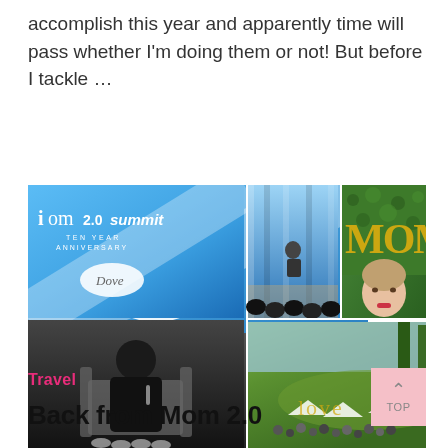accomplish this year and apparently time will pass whether I'm doing them or not! But before I tackle …
[Figure (photo): Photo collage from Mom 2.0 Summit Ten Year Anniversary event sponsored by Dove. Top-left: event signage/logo. Top-center: speaker on stage with blue curtains. Top-right: woman taking selfie in front of green hedge with gold MOM balloon letters. Bottom-left: woman in black outfit seated on stage speaking with microphone. Bottom-right: aerial view of outdoor event with crowd on green lawn.]
Travel
Back from Mom 2.0